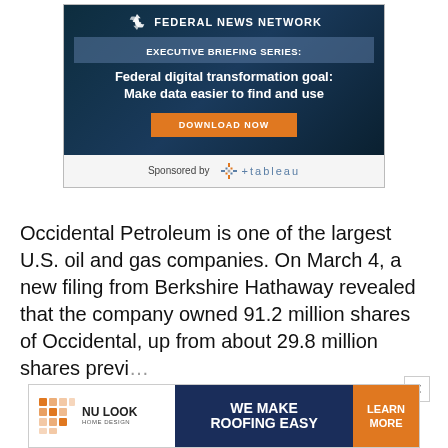[Figure (screenshot): Federal News Network ad banner: Executive Briefing Series - Federal digital transformation goal: Make data easier to find and use. Download Now button. Sponsored by Tableau.]
Occidental Petroleum is one of the largest U.S. oil and gas companies. On March 4, a new filing from Berkshire Hathaway revealed that the company owned 91.2 million shares of Occidental, up from about 29.8 million shares previ...
[Figure (screenshot): Nu Look Home Design ad banner: WE MAKE ROOFING EASY. LEARN MORE button.]